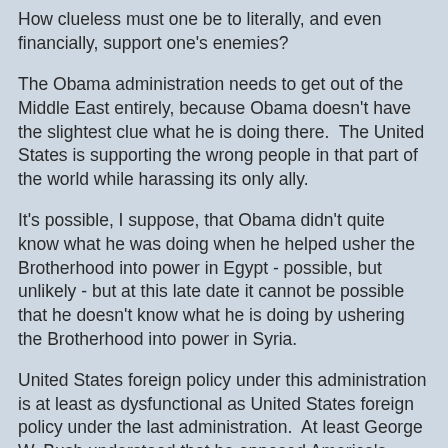How clueless must one be to literally, and even financially, support one's enemies?
The Obama administration needs to get out of the Middle East entirely, because Obama doesn't have the slightest clue what he is doing there.  The United States is supporting the wrong people in that part of the world while harassing its only ally.
It's possible, I suppose, that Obama didn't quite know what he was doing when he helped usher the Brotherhood into power in Egypt - possible, but unlikely - but at this late date it cannot be possible that he doesn't know what he is doing by ushering the Brotherhood into power in Syria.
United States foreign policy under this administration is at least as dysfunctional as United States foreign policy under the last administration.  At least George W. Bush understood that he opposed America's enemies.  The same cannot be said for this administration.  It's dangerous and pathetic and they seem to have learned nothing from the past.